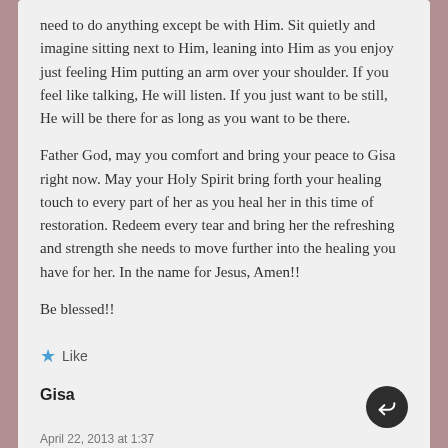need to do anything except be with Him. Sit quietly and imagine sitting next to Him, leaning into Him as you enjoy just feeling Him putting an arm over your shoulder. If you feel like talking, He will listen. If you just want to be still, He will be there for as long as you want to be there.
Father God, may you comfort and bring your peace to Gisa right now. May your Holy Spirit bring forth your healing touch to every part of her as you heal her in this time of restoration. Redeem every tear and bring her the refreshing and strength she needs to move further into the healing you have for her. In the name for Jesus, Amen!!
Be blessed!!
Like
Gisa